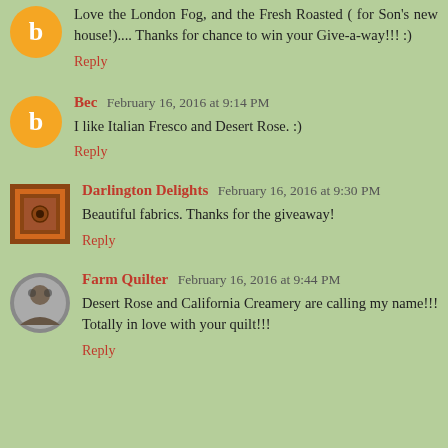Love the London Fog, and the Fresh Roasted ( for Son's new house!).... Thanks for chance to win your Give-a-way!!! :)
Reply
Bec  February 16, 2016 at 9:14 PM
I like Italian Fresco and Desert Rose. :)
Reply
Darlington Delights  February 16, 2016 at 9:30 PM
Beautiful fabrics. Thanks for the giveaway!
Reply
Farm Quilter  February 16, 2016 at 9:44 PM
Desert Rose and California Creamery are calling my name!!! Totally in love with your quilt!!!
Reply